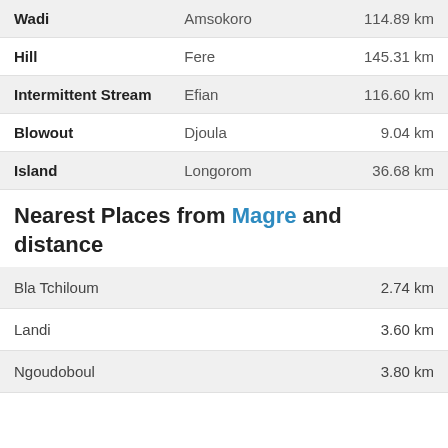| Type | Name | Distance |
| --- | --- | --- |
| Wadi | Amsokoro | 114.89 km |
| Hill | Fere | 145.31 km |
| Intermittent Stream | Efian | 116.60 km |
| Blowout | Djoula | 9.04 km |
| Island | Longorom | 36.68 km |
Nearest Places from Magre and distance
| Place | Distance |
| --- | --- |
| Bla Tchiloum | 2.74 km |
| Landi | 3.60 km |
| Ngoudoboul | 3.80 km |